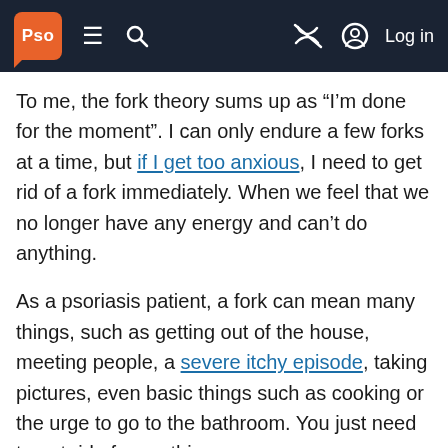Pso [navigation bar with logo, hamburger menu, search, and Log in]
To me, the fork theory sums up as “I’m done for the moment”. I can only endure a few forks at a time, but if I get too anxious, I need to get rid of a fork immediately. When we feel that we no longer have any energy and can’t do anything.
As a psoriasis patient, a fork can mean many things, such as getting out of the house, meeting people, a severe itchy episode, taking pictures, even basic things such as cooking or the urge to go to the bathroom. You just need to get rid of something.